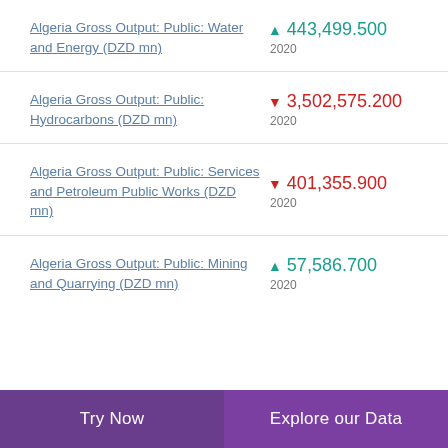Algeria Gross Output: Public: Water and Energy (DZD mn) ▲ 443,499.500 2020
Algeria Gross Output: Public: Hydrocarbons (DZD mn) ▼ 3,502,575.200 2020
Algeria Gross Output: Public: Services and Petroleum Public Works (DZD mn) ▼ 401,355.900 2020
Algeria Gross Output: Public: Mining and Quarrying (DZD mn) ▲ 57,586.700 2020
Try Now   Explore our Data